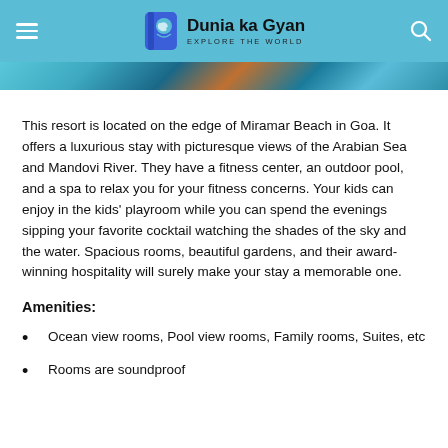Dunia ka Gyan — Explore The World
[Figure (photo): Partial colorful photo strip at top of content area]
This resort is located on the edge of Miramar Beach in Goa. It offers a luxurious stay with picturesque views of the Arabian Sea and Mandovi River. They have a fitness center, an outdoor pool, and a spa to relax you for your fitness concerns. Your kids can enjoy in the kids' playroom while you can spend the evenings sipping your favorite cocktail watching the shades of the sky and the water. Spacious rooms, beautiful gardens, and their award-winning hospitality will surely make your stay a memorable one.
Amenities:
Ocean view rooms, Pool view rooms, Family rooms, Suites, etc
Rooms are soundproof